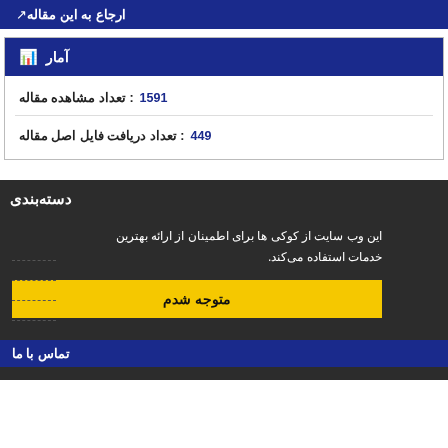ارجاع به این مقاله
آمار
تعداد مشاهده مقاله: 1591
تعداد دریافت فایل اصل مقاله: 449
دسته‌بندی
این وب سایت از کوکی ها برای اطمینان از ارائه بهترین خدمات استفاده می کند.
متوجه شدم
تماس با ما